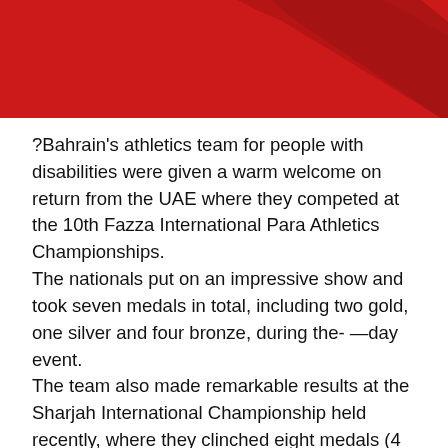[Figure (illustration): Red header background with decorative curved swoosh shapes in darker red]
?Bahrain's athletics team for people with disabilities were given a warm welcome on return from the UAE where they competed at the 10th Fazza International Para Athletics Championships.
The nationals put on an impressive show and took seven medals in total, including two gold, one silver and four bronze, during the- —day event.
The team also made remarkable results at the Sharjah International Championship held recently, where they clinched eight medals (4 gold, 2 silver, 2 bronze).
Supreme Council for Youth and Sports assistant general secretary and Bahrain Olympic Committee (BOC) general secretary Abdulrahman Askar led high-ranking sports officials at the reception ceremony on the team return.
Askar conveyed the congratulations of Shaikh Nasser bin Hamad Al Khalifa, representative of His Highness and His